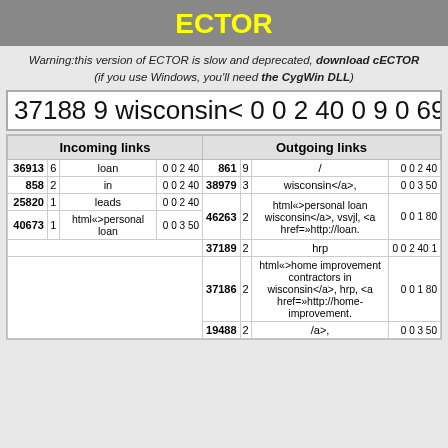ECTOR
Warning:this version of ECTOR is slow and deprecated, download cECTOR (if you use Windows, you'll need the CygWin DLL)
37188 9 wisconsin< 0 0 2 40 0 9 0 696
| ID | Count | Word | Codes | ID | Count | Word | Codes |
| --- | --- | --- | --- | --- | --- | --- | --- |
| Incoming links |  |  |  | Outgoing links |  |  |  |
| 36913 | 6 | loan | 0 0 2 40 | 861 | 9 | / | 0 0 2 40 |
| 858 | 2 | in | 0 0 2 40 | 38979 | 3 | wisconsin</a>, | 0 0 3 50 |
| 25820 | 1 | leads | 0 0 2 40 | 46263 | 2 | html«>personal loan wisconsin</a>, vsvjl, <a href=»http://loan. | 0 0 1 80 |
| 40673 | 1 | html«>personal loan | 0 0 3 50 |  |  |  |  |
|  |  |  |  | 37189 | 2 | hrp | 0 0 2 40 1 |
|  |  |  |  | 37186 | 2 | html«>home improvement contractors in wisconsin</a>, hrp, <a href=»http://home-improvement. | 0 0 1 80 |
|  |  |  |  | 19488 | 2 | /a>, | 0 0 3 50 |